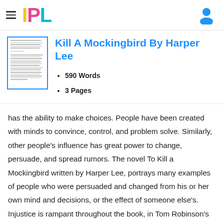IPL
[Figure (illustration): Document thumbnail preview with blue border showing lines of text]
Kill A Mockingbird By Harper Lee
590 Words
3 Pages
has the ability to make choices. People have been created with minds to convince, control, and problem solve. Similarly, other people's influence has great power to change, persuade, and spread rumors. The novel To Kill a Mockingbird written by Harper Lee, portrays many examples of people who were persuaded and changed from his or her own mind and decisions, or the effect of someone else's. Injustice is rampant throughout the book, in Tom Robinson's verdict, Boo Radley's precarious situation, and…